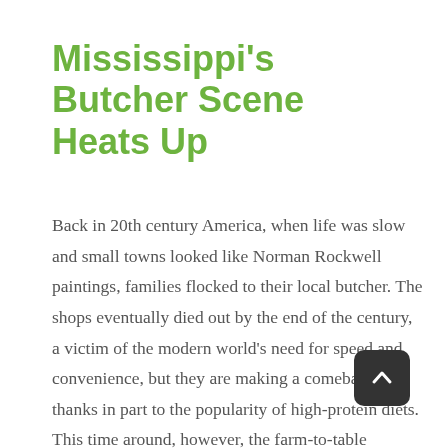Mississippi's Butcher Scene Heats Up
Back in 20th century America, when life was slow and small towns looked like Norman Rockwell paintings, families flocked to their local butcher. The shops eventually died out by the end of the century, a victim of the modern world's need for speed and convenience, but they are making a comeback, thanks in part to the popularity of high-protein diets. This time around, however, the farm-to-table movement has given rise to a new breed of butcher shop/restaurant, with chefs breaking down the animal themselves. This trend is sweeping the country, but arguably no place is doing it